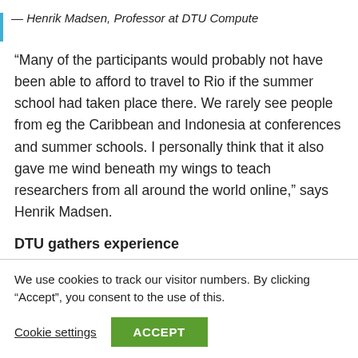— Henrik Madsen, Professor at DTU Compute
“Many of the participants would probably not have been able to afford to travel to Rio if the summer school had taken place there. We rarely see people from eg the Caribbean and Indonesia at conferences and summer schools. I personally think that it also gave me wind beneath my wings to teach researchers from all around the world online,” says Henrik Madsen.
DTU gathers experience
We use cookies to track our visitor numbers. By clicking “Accept”, you consent to the use of this.
Cookie settings
ACCEPT